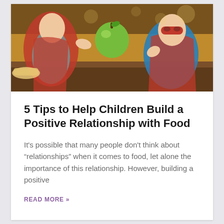[Figure (photo): Two children dressed as superheroes (wearing red capes and masks) at a wooden table, one holding up a green apple, photographed in a warm indoor setting.]
5 Tips to Help Children Build a Positive Relationship with Food
It's possible that many people don't think about “relationships” when it comes to food, let alone the importance of this relationship. However, building a positive
READ MORE »